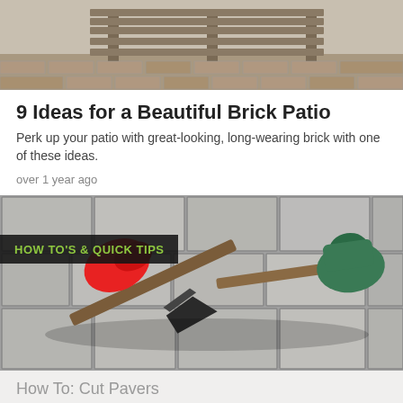[Figure (photo): Top partial photo showing a wooden bench on a brick patio]
9 Ideas for a Beautiful Brick Patio
Perk up your patio with great-looking, long-wearing brick with one of these ideas.
over 1 year ago
[Figure (photo): Photo of a red-handled chisel/scraper tool and a green rubber mallet hammer lying on grey stone pavers, with a HOW TO'S & QUICK TIPS badge overlay]
How To: Cut Pavers